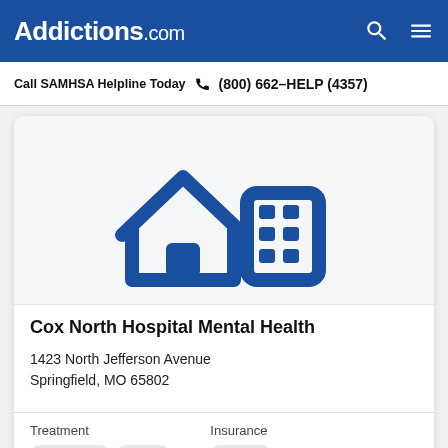Addictions.com
Call SAMHSA Helpline Today (800) 662-HELP (4357)
[Figure (illustration): Icon of a house with a medical/office building behind it, rendered in dark blue outline style on a light gray background]
Cox North Hospital Mental Health
1423 North Jefferson Avenue
Springfield, MO 65802
Treatment: Outpatient, Detox | Insurance: Private